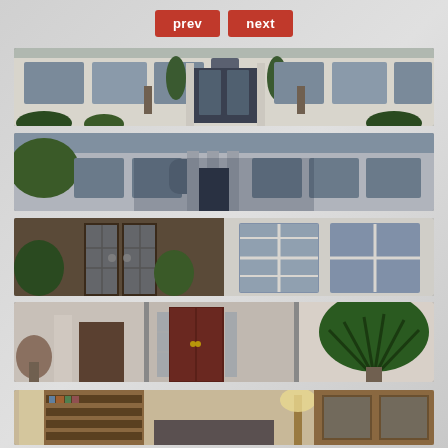[Figure (screenshot): Navigation buttons: prev and next in red]
[Figure (photo): Exterior front facade of a large white colonial-style house with decorative columns, spiral topiary plants, and multiple windows. Wide panoramic strip.]
[Figure (photo): Exterior front of a large light-grey colonial house with arched window accent, columns, and multiple windows. Wide panoramic strip.]
[Figure (photo): Two interior/exterior photos side by side: left shows ornate leaded-glass double doors with decorative ironwork and plants; right shows white-framed French windows with plantation-style trim.]
[Figure (photo): Three smaller interior/entry photos side by side: left shows a column and decorative sculpture near a door; center shows a dark mahogany double door with ornate leaded glass panels; right shows a lush green tropical plant indoors.]
[Figure (photo): Interior living room/study with bookshelves, wooden cabinets, a lit floor lamp, and classic furniture. Partial view, cropped at bottom.]